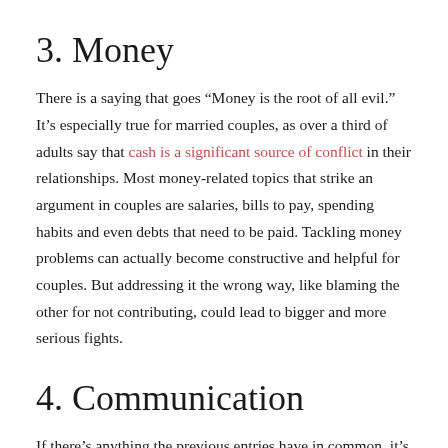3. Money
There is a saying that goes “Money is the root of all evil.” It’s especially true for married couples, as over a third of adults say that cash is a significant source of conflict in their relationships. Most money-related topics that strike an argument in couples are salaries, bills to pay, spending habits and even debts that need to be paid. Tackling money problems can actually become constructive and helpful for couples. But addressing it the wrong way, like blaming the other for not contributing, could lead to bigger and more serious fights.
4. Communication
If there’s anything the previous entries have in common, it’s that they’re born out of miscommunication or just a general lack of communication. Everyone expresses themselves differently. You